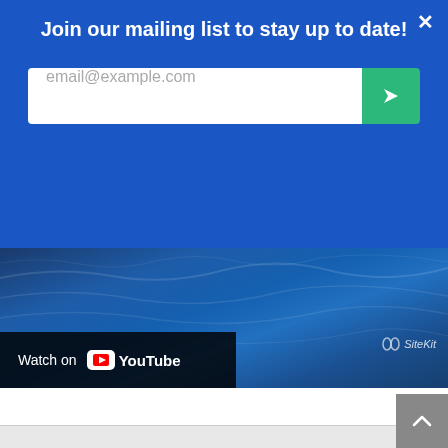Join our mailing list to stay up to date!
[Figure (screenshot): Email input field with placeholder text 'email@example.com' and a green submit button with a right arrow icon]
[Figure (photo): Ocean/sea water surface photo with blue waves, SiteKit watermark in bottom right, and a YouTube watch button bar at bottom left]
Watch on YouTube